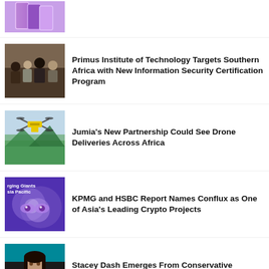[Figure (photo): Purple/pink gradient background with phone-like shapes — partial top item thumbnail]
[Figure (photo): People sitting in a classroom or seminar setting]
Primus Institute of Technology Targets Southern Africa with New Information Security Certification Program
[Figure (photo): A yellow drone flying over green landscape]
Jumia's New Partnership Could See Drone Deliveries Across Africa
[Figure (photo): Purple glowing orbs background with text: rging Giants sia Pacific]
KPMG and HSBC Report Names Conflux as One of Asia's Leading Crypto Projects
[Figure (photo): Woman smiling in front of teal background with 'RZ' and 'LAN' text visible]
Stacey Dash Emerges From Conservative Cocoon To Realize DMX Passed Away A Year Ago